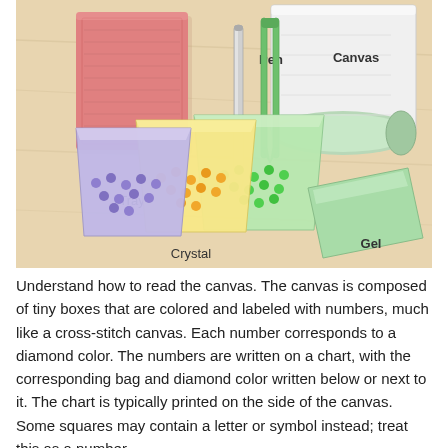[Figure (illustration): Illustration of diamond painting supplies on a wooden surface: a pink tray (top left), a metal pen and green tweezers (center), a rolled white and green canvas (top right), three bags of crystals in purple/blue, yellow/orange, and green (bottom center-left), and a green gel pad (bottom right). Labels: Tray, Pen, Canvas, Crystal, Gel.]
Understand how to read the canvas. The canvas is composed of tiny boxes that are colored and labeled with numbers, much like a cross-stitch canvas. Each number corresponds to a diamond color. The numbers are written on a chart, with the corresponding bag and diamond color written below or next to it. The chart is typically printed on the side of the canvas. Some squares may contain a letter or symbol instead; treat this as a number.